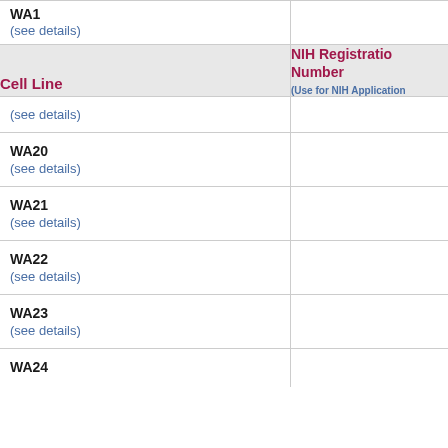| Cell Line | NIH Registration Number (Use for NIH Applications) |
| --- | --- |
| (see details) |  |
| (see details) |  |
| WA20
(see details) |  |
| WA21
(see details) |  |
| WA22
(see details) |  |
| WA23
(see details) |  |
| WA24 |  |